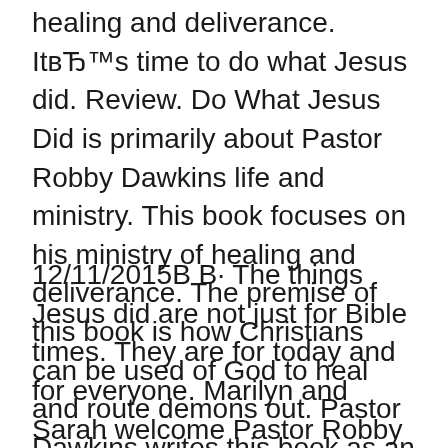healing and deliverance. It's time to do what Jesus did. Review. Do What Jesus Did is primarily about Pastor Robby Dawkins life and ministry. This book focuses on his ministry of healing and deliverance. The premise of this book is how Christians can be used of God to heal and route demons out. Pastor Dawkins writes this book as an autobiography, testimony and
12/11/2015В В· The things Jesus did are not just for Bible times. They are for today and for everyone. Marilyn and Sarah welcome Pastor Robby Dawkins to the вЂ¦ Listen to "Do What Jesus Did A Real-Life Field Guide to Healing the Sick, Routing Demons and Changing Lives Forever" by Robby Dawkins available from Rakuten Kobo. Narrated by John Wilders. Start a